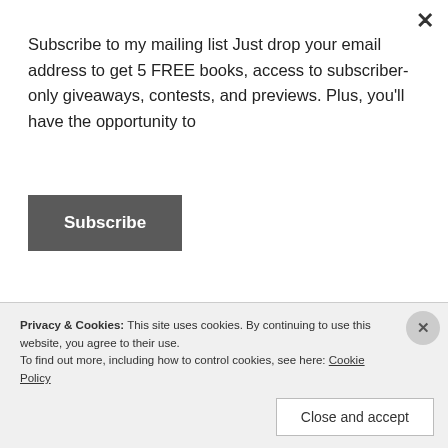Subscribe to my mailing list Just drop your email address to get 5 FREE books, access to subscriber-only giveaways, contests, and previews. Plus, you'll have the opportunity to
[Figure (other): Subscribe button — dark grey rounded rectangle with white bold text 'Subscribe']
relaunched with new covers at the beginning of the year while subconsciously doing some of what this video talks about (finding the common thread in like promo materials) and my sales doubled.
If you aren't happy with your sales, even if you feel like
Privacy & Cookies: This site uses cookies. By continuing to use this website, you agree to their use.
To find out more, including how to control cookies, see here: Cookie Policy
[Figure (other): Close and accept button — white rectangle with border, text 'Close and accept']